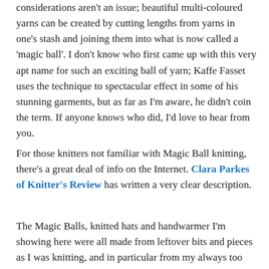considerations aren't an issue; beautiful multi-coloured yarns can be created by cutting lengths from yarns in one's stash and joining them into what is now called a 'magic ball'. I don't know who first came up with this very apt name for such an exciting ball of yarn; Kaffe Fasset uses the technique to spectacular effect in some of his stunning garments, but as far as I'm aware, he didn't coin the term. If anyone knows who did, I'd love to hear from you.
For those knitters not familiar with Magic Ball knitting, there's a great deal of info on the Internet. Clara Parkes of Knitter's Review has written a very clear description.
The Magic Balls, knitted hats and handwarmer I'm showing here were all made from leftover bits and pieces as I was knitting, and in particular from my always too generous length of yarn pulled out for a longtail cast on. I live in terror of running out before all